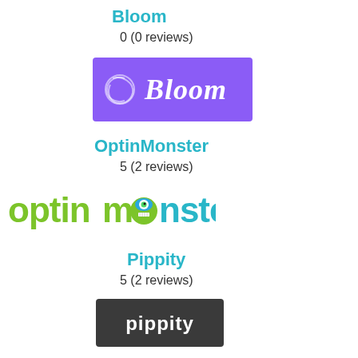Bloom
0  (0 reviews)
[Figure (logo): Bloom plugin logo — purple/violet rectangle with a circular swirl icon and white italic script text 'Bloom']
OptinMonster
5  (2 reviews)
[Figure (logo): OptinMonster logo — green and cyan text 'optinmonster' with a cartoon monster face replacing the 'o' in 'monster']
Pippity
5  (2 reviews)
[Figure (logo): Pippity logo — dark grey rectangle with white lowercase text 'pippity']